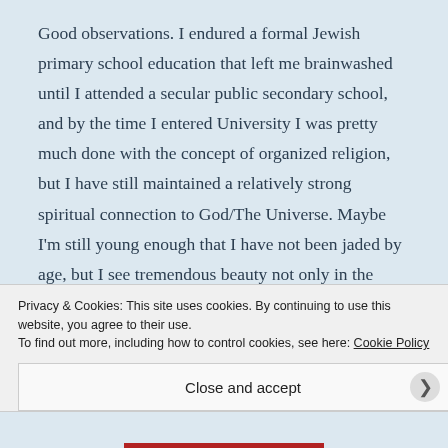Good observations. I endured a formal Jewish primary school education that left me brainwashed until I attended a secular public secondary school, and by the time I entered University I was pretty much done with the concept of organized religion, but I have still maintained a relatively strong spiritual connection to God/The Universe. Maybe I'm still young enough that I have not been jaded by age, but I see tremendous beauty not only in the great cathedrals I have visited, but also in the landscape and sky. And it's not a
Privacy & Cookies: This site uses cookies. By continuing to use this website, you agree to their use.
To find out more, including how to control cookies, see here: Cookie Policy
Close and accept